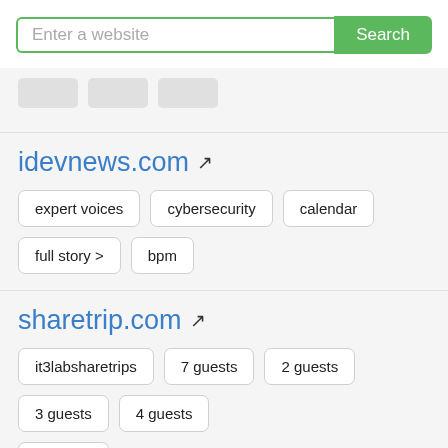[Figure (screenshot): Search bar with placeholder 'Enter a website' and a green 'Search' button]
[Figure (other): Three small grey placeholder boxes/buttons]
idevnews.com
expert voices
cybersecurity
calendar
full story >
bpm
sharetrip.com
it3labsharetrips
7 guests
2 guests
3 guests
4 guests
8 guests